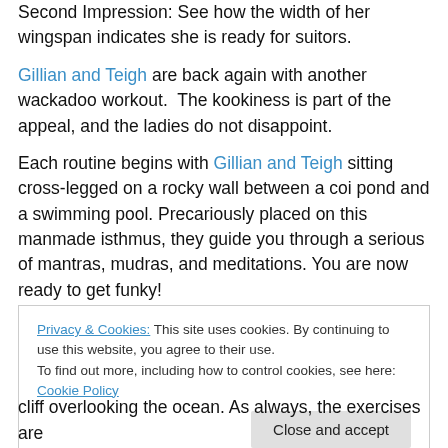Second Impression: See how the width of her wingspan indicates she is ready for suitors.
Gillian and Teigh are back again with another wackadoo workout. The kookiness is part of the appeal, and the ladies do not disappoint.
Each routine begins with Gillian and Teigh sitting cross-legged on a rocky wall between a coi pond and a swimming pool. Precariously placed on this manmade isthmus, they guide you through a serious of mantras, mudras, and meditations. You are now ready to get funky!
Privacy & Cookies: This site uses cookies. By continuing to use this website, you agree to their use. To find out more, including how to control cookies, see here: Cookie Policy
cliff overlooking the ocean. As always, the exercises are